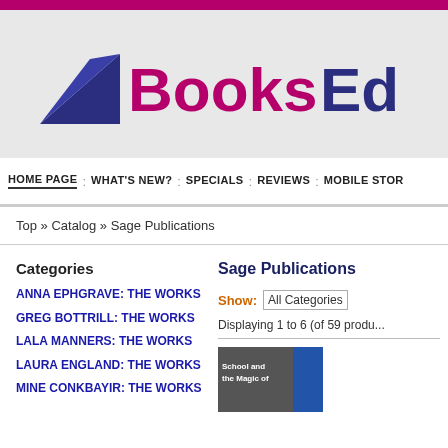[Figure (logo): BooksEd logo with dark navy triangle/arrow shape and magenta/navy text partially visible]
HOME PAGE : WHAT'S NEW? : SPECIALS : REVIEWS : MOBILE STOR
Top » Catalog » Sage Publications
Categories
ANNA EPHGRAVE: THE WORKS
GREG BOTTRILL: THE WORKS
LALA MANNERS: THE WORKS
LAURA ENGLAND: THE WORKS
MINE CONKBAYIR: THE WORKS
Sage Publications
Show: All Categories
Displaying 1 to 6 (of 59 produ...
[Figure (photo): Book cover showing 'School and the Magic of...' partially visible]